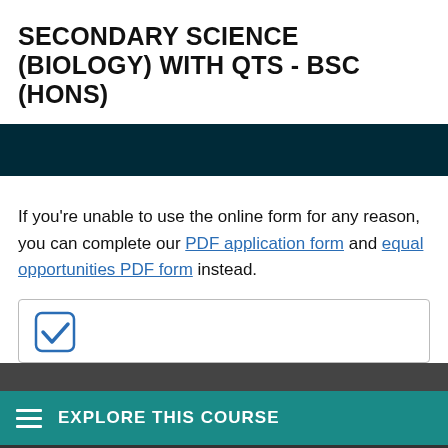SECONDARY SCIENCE (BIOLOGY) WITH QTS - BSC (HONS)
If you're unable to use the online form for any reason, you can complete our PDF application form and equal opportunities PDF form instead.
[Figure (other): Checkbox icon with blue checkmark in a rounded square border]
EXPLORE THIS COURSE
site you agree to this, or visit our cookie policy to manage your settings.